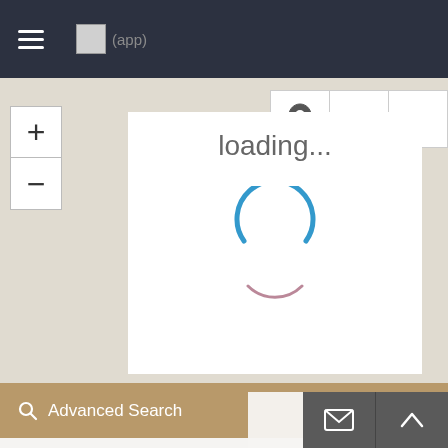≡  [logo] (app)
[Figure (screenshot): Map loading screen with a white box showing 'loading...' text and a spinning circle indicator. Map background is beige/grey. Controls include + and - zoom buttons on left, and location pin, back and forward arrows on right.]
🔍 Advanced Search
Privacy Policy
This Privacy Policy governs the manner in which Re...ate WordPress Theme collects, uses, maintains and discloses